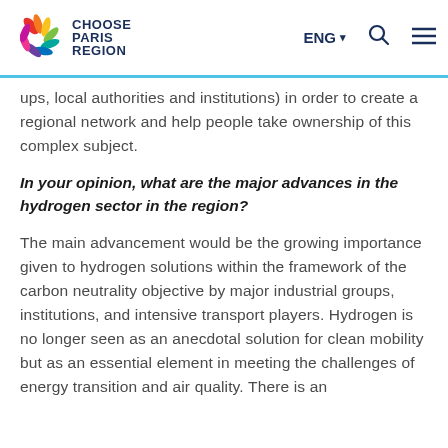CHOOSE PARIS REGION | ENG
ups, local authorities and institutions) in order to create a regional network and help people take ownership of this complex subject.
In your opinion, what are the major advances in the hydrogen sector in the region?
The main advancement would be the growing importance given to hydrogen solutions within the framework of the carbon neutrality objective by major industrial groups, institutions, and intensive transport players. Hydrogen is no longer seen as an anecdotal solution for clean mobility but as an essential element in meeting the challenges of energy transition and air quality. There is an